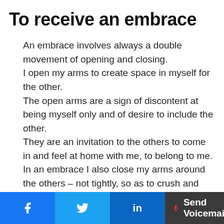To receive an embrace
An embrace involves always a double movement of opening and closing.
I open my arms to create space in myself for the other.
The open arms are a sign of discontent at being myself only and of desire to include the other.
They are an invitation to the others to come in and feel at home with me, to belong to me.
In an embrace I also close my arms around the others – not tightly, so as to crush and assimilate them forcefully into myself, for that would not be an embrace but a concealed power-act of
Facebook | Twitter | in | Send Voicemail